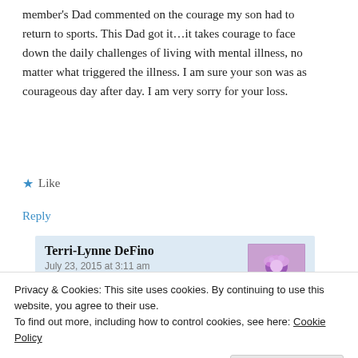member's Dad commented on the courage my son had to return to sports. This Dad got it…it takes courage to face down the daily challenges of living with mental illness, no matter what triggered the illness. I am sure your son was as courageous day after day. I am very sorry for your loss.
★ Like
Reply
Terri-Lynne DeFino
July 23, 2015 at 3:11 am
Privacy & Cookies: This site uses cookies. By continuing to use this website, you agree to their use.
To find out more, including how to control cookies, see here: Cookie Policy
Close and accept